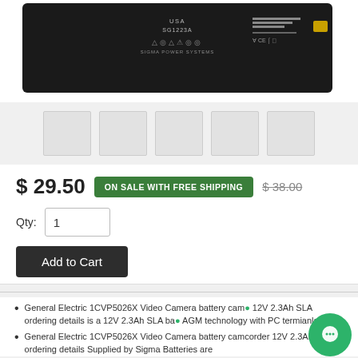[Figure (photo): Black SLA battery product photo showing top/label of battery, model SG1223A, with connector on right end]
$ 29.50
ON SALE WITH FREE SHIPPING
$ 38.00
Qty: 1
Add to Cart
General Electric 1CVP5026X Video Camera battery camcorder 12V 2.3Ah SLA ordering details is a 12V 2.3Ah SLA battery using AGM technology with PC termianls.
General Electric 1CVP5026X Video Camera battery camcorder 12V 2.3Ah SLA ordering details Supplied by Sigma Batteries are